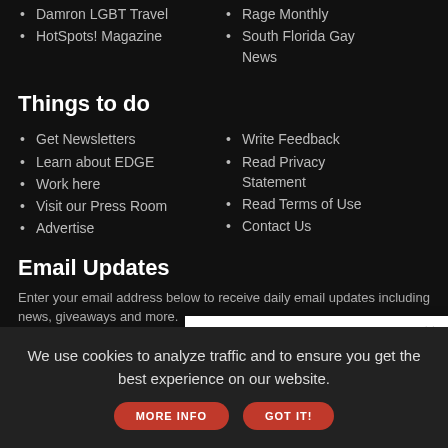Damron LGBT Travel
HotSpots! Magazine
Rage Monthly
South Florida Gay News
Things to do
Get Newsletters
Learn about EDGE
Work here
Visit our Press Room
Advertise
Write Feedback
Read Privacy Statement
Read Terms of Use
Contact Us
Email Updates
Enter your email address below to receive daily email updates including news, giveaways and more.
Enter em…
RELATED STORY
We use cookies to analyze traffic and to ensure you get the best experience on our website.
MORE INFO
GOT IT!